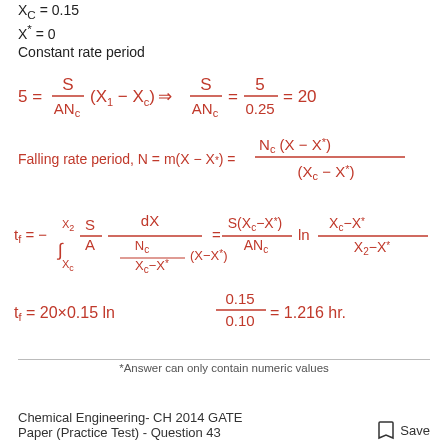X_C = 0.15
X* = 0
Constant rate period
*Answer can only contain numeric values
Chemical Engineering- CH 2014 GATE Paper (Practice Test) - Question 43